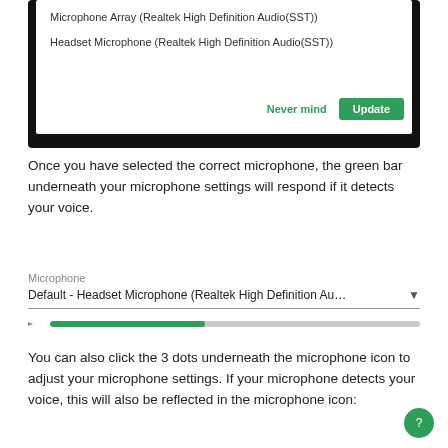[Figure (screenshot): A dialog box showing microphone options: 'Microphone Array (Realtek High Definition Audio(SST))' and 'Headset Microphone (Realtek High Definition Audio(SST))' with 'Never mind' and 'Update' buttons.]
Once you have selected the correct microphone, the green bar underneath your microphone settings will respond if it detects your voice.
[Figure (screenshot): Microphone settings widget showing 'Default - Headset Microphone (Realtek High Definition Au...' dropdown and a green progress bar indicating audio level.]
You can also click the 3 dots underneath the microphone icon to adjust your microphone settings. If your microphone detects your voice, this will also be reflected in the microphone icon: